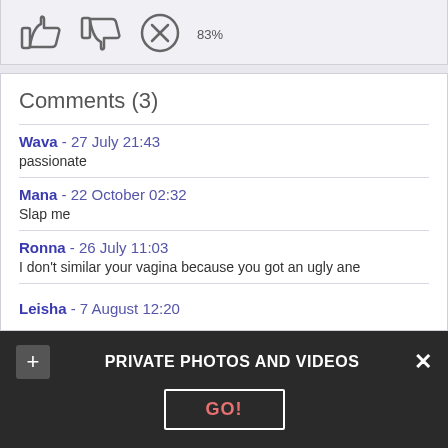[Figure (other): Thumbs up icon, thumbs down icon, and X/close icon forming a rating/voting row with 83% rating displayed below]
Comments (3)
Wava - 27 July 21:43
passionate
Mana - 22 October 02:32
Slap me
Ronna - 26 July 11:03
I don't similar your vagina because you got an ugly ane
Leisha - 7 August 12:20
PRIVATE PHOTOS AND VIDEOS
GO!